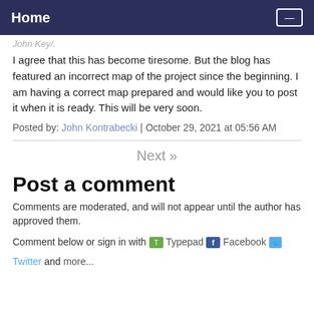Home
I agree that this has become tiresome. But the blog has featured an incorrect map of the project since the beginning. I am having a correct map prepared and would like you to post it when it is ready. This will be very soon.
Posted by: John Kontrabecki | October 29, 2021 at 05:56 AM
Next »
Post a comment
Comments are moderated, and will not appear until the author has approved them.
Comment below or sign in with Typepad Facebook Twitter and more...